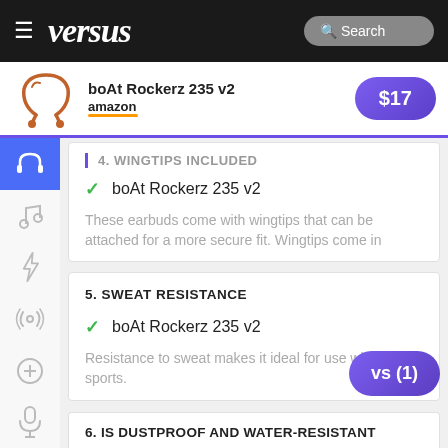versus — Search — boAt Rockerz 235 v2 — amazon — $17
4. WINGTIPS INCLUDED
✔ boAt Rockerz 235 v2
These earbuds come with wingtips that can be attached for a more secure fit. Wingtips come in
5. SWEAT RESISTANCE
✔ boAt Rockerz 235 v2
Resistance to sweat makes it ideal for use while doing sports.
6. IS DUSTPROOF AND WATER-RESISTANT